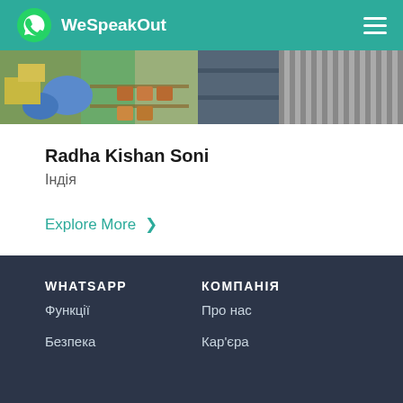WeSpeakOut
[Figure (photo): A partial outdoor market scene showing colorful produce and a person in a striped garment, cropped at top.]
Radha Kishan Soni
Індія
Explore More >
WHATSAPP | Функції | Безпека | КОМПАНІЯ | Про нас | Кар'єра